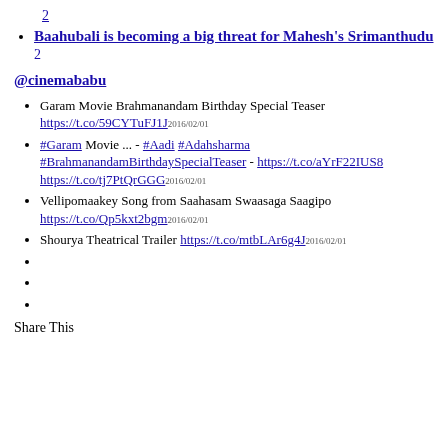2
Baahubali is becoming a big threat for Mahesh's Srimanthudu
2
@cinemababu
Garam Movie Brahmanandam Birthday Special Teaser https://t.co/59CYTuFJ1J 2016/02/01
#Garam Movie ... - #Aadi #Adahsharma #BrahmanandamBirthdaySpecialTeaser - https://t.co/aYrF22IUS8 https://t.co/tj7PtQrGGG 2016/02/01
Vellipomaakey Song from Saahasam Swaasaga Saagipo https://t.co/Qp5kxt2bgm 2016/02/01
Shourya Theatrical Trailer https://t.co/mtbLAr6g4J 2016/02/01
Share This